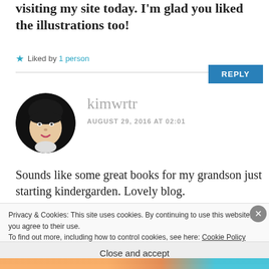visiting my site today. I'm glad you liked the illustrations too!
★ Liked by 1 person
REPLY
[Figure (photo): Circular avatar photo of a woman with dark hair and bangs, high-contrast black and white style]
kimwrtr
AUGUST 29, 2016 AT 02:01
Sounds like some great books for my grandson just starting kindergarden. Lovely blog.
Privacy & Cookies: This site uses cookies. By continuing to use this website, you agree to their use.
To find out more, including how to control cookies, see here: Cookie Policy
Close and accept